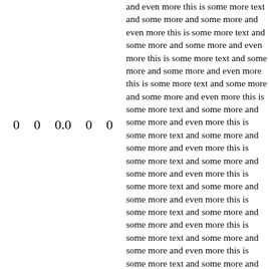0 0 0.0 0 0
and even more this is some more text and some more and some more and even more this is some more text and some more and some more and even more this is some more text and some more and some more and even more this is some more text and some more and some more and even more this is some more text and some more and some more and even more this is some more text and some more and some more and even more this is some more text and some more and some more and even more this is some more text and some more and some more and even more this is some more text and some more and some more and even more this is some more text and some more and some more and even more this is some more text and some more and some more and even more this is some more text and some more and some more and even more this is some more text and some more and some more and even more this is some more text and some more and some more and even more t